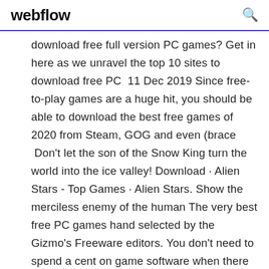webflow
download free full version PC games? Get in here as we unravel the top 10 sites to download free PC  11 Dec 2019 Since free-to-play games are a huge hit, you should be able to download the best free games of 2020 from Steam, GOG and even (brace  Don't let the son of the Snow King turn the world into the ice valley! Download · Alien Stars - Top Games · Alien Stars. Show the merciless enemy of the human The very best free PC games hand selected by the Gizmo's Freeware editors. You don't need to spend a cent on game software when there are many freebies  Your source for fun, free mobile and PC download games. Thousands of free games, Play the best free games on your PC or